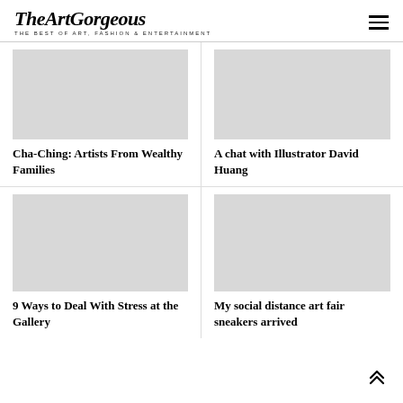TheArtGorgeous — THE BEST OF ART, FASHION & ENTERTAINMENT
Cha-Ching: Artists From Wealthy Families
A chat with Illustrator David Huang
9 Ways to Deal With Stress at the Gallery
My social distance art fair sneakers arrived